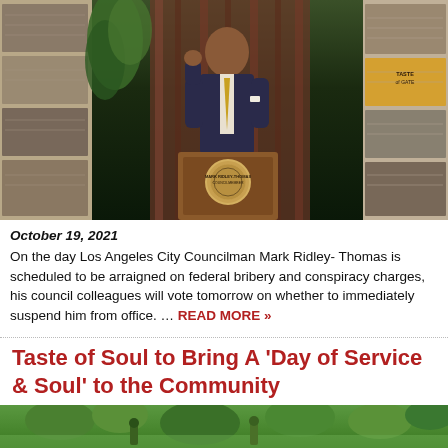[Figure (photo): Photo of Los Angeles City Councilman Mark Ridley-Thomas speaking at a podium with the city councilmember seal, surrounded by a collage of historical black and white photos]
October 19, 2021
On the day Los Angeles City Councilman Mark Ridley- Thomas is scheduled to be arraigned on federal bribery and conspiracy charges, his council colleagues will vote tomorrow on whether to immediately suspend him from office. … READ MORE »
Taste of Soul to Bring A 'Day of Service & Soul' to the Community
[Figure (photo): Bottom portion of a photo showing outdoor greenery/trees for the Taste of Soul article]